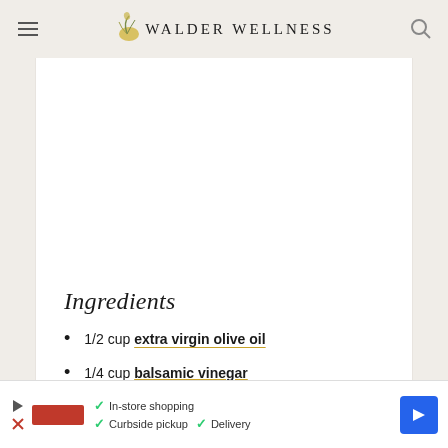WALDER WELLNESS
[Figure (illustration): Walder Wellness logo with lemon and leaf illustration]
Ingredients
1/2 cup extra virgin olive oil
1/4 cup balsamic vinegar
1 med-large lemon, juice only
2 tsp garlic powder
2 tsp honey
In-store shopping  Curbside pickup  Delivery